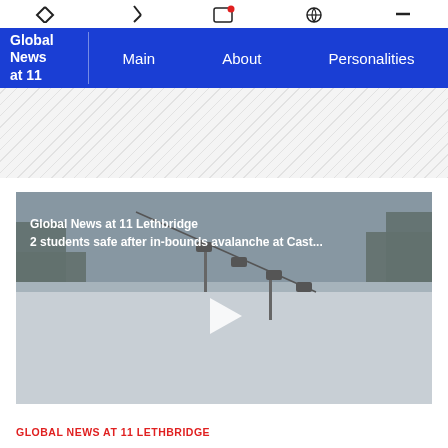Global News at 11 | Main | About | Personalities
[Figure (screenshot): A video player showing a ski lift scene with text overlay 'Global News at 11 Lethbridge / 2 students safe after in-bounds avalanche at Cast...' and a play button in the center]
GLOBAL NEWS AT 11 LETHBRIDGE